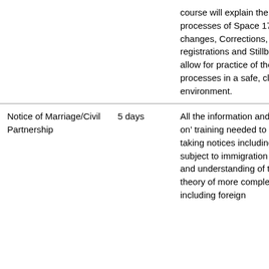| Course | Duration | Description |
| --- | --- | --- |
|  |  | course will explain the processes of Space 17 name changes, Corrections, Re-registrations and Stillbirths and allow for practice of these processes in a safe, classroom environment. |
| Notice of Marriage/Civil Partnership | 5 days | All the information and ‘hands on’ training needed to ‘go live’ taking notices including those subject to immigration control and understanding of the theory of more complex cases, including foreign |